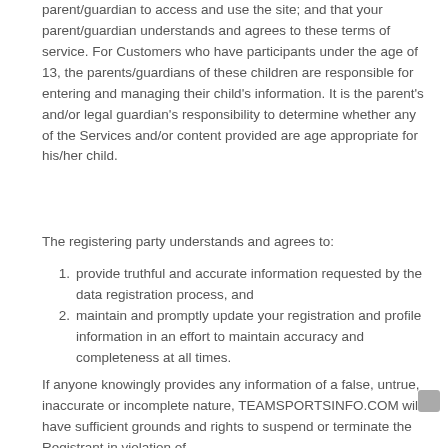parent/guardian to access and use the site; and that your parent/guardian understands and agrees to these terms of service. For Customers who have participants under the age of 13, the parents/guardians of these children are responsible for entering and managing their child's information. It is the parent's and/or legal guardian's responsibility to determine whether any of the Services and/or content provided are age appropriate for his/her child.
The registering party understands and agrees to:
provide truthful and accurate information requested by the data registration process, and
maintain and promptly update your registration and profile information in an effort to maintain accuracy and completeness at all times.
If anyone knowingly provides any information of a false, untrue, inaccurate or incomplete nature, TEAMSPORTSINFO.COM will have sufficient grounds and rights to suspend or terminate the Registrant in violation of